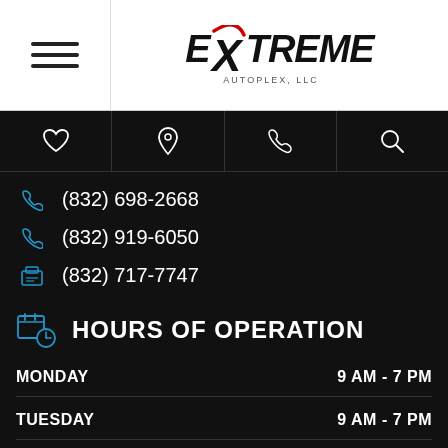Extreme Autoplex, LLC
(832) 698-2668
(832) 919-6050
(832) 717-7747
HOURS OF OPERATION
| Day | Hours |
| --- | --- |
| MONDAY | 9 AM - 7 PM |
| TUESDAY | 9 AM - 7 PM |
| WEDNESDAY | 9 AM - 7 PM |
| THURSDAY | 9 AM - 7 PM |